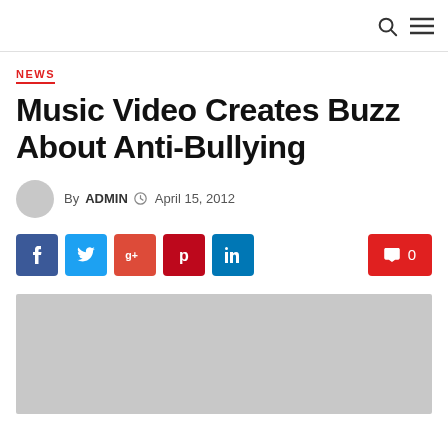NEWS
Music Video Creates Buzz About Anti-Bullying
By ADMIN  April 15, 2012
[Figure (other): Social sharing buttons: Facebook, Twitter, Google+, Pinterest, LinkedIn; and a comment button showing 0 comments]
[Figure (photo): Featured article image placeholder (gray rectangle)]